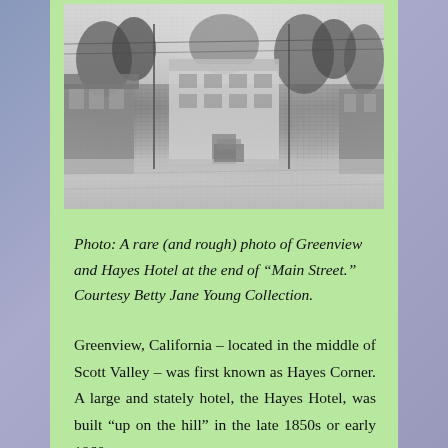[Figure (photo): Black and white historical photograph of Greenview, California, showing a street scene with buildings including the Hayes Hotel visible at the end of what appears to be Main Street, with trees lining the road.]
Photo:  A rare (and rough) photo of Greenview and Hayes Hotel at the end of “Main Street.” Courtesy Betty Jane Young Collection.
Greenview, California – located in the middle of Scott Valley – was first known as Hayes Corner. A large and stately hotel, the Hayes Hotel, was built “up on the hill” in the late 1850s or early 1860s